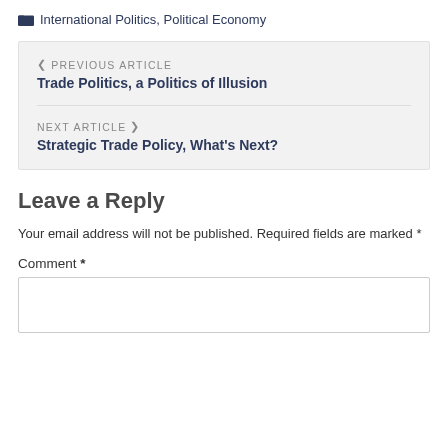International Politics, Political Economy
< PREVIOUS ARTICLE
Trade Politics, a Politics of Illusion
NEXT ARTICLE >
Strategic Trade Policy, What's Next?
Leave a Reply
Your email address will not be published. Required fields are marked *
Comment *